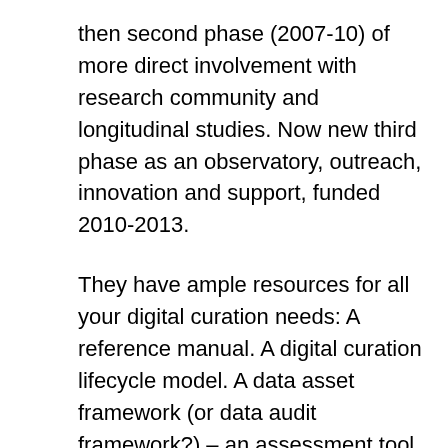then second phase (2007-10) of more direct involvement with research community and longitudinal studies. Now new third phase as an observatory, outreach, innovation and support, funded 2010-2013.
They have ample resources for all your digital curation needs: A reference manual. A digital curation lifecycle model. A data asset framework (or data audit framework?) – an assessment tool for how to manage data assets. DRAMBORA – a risk management tool for data. Briefing papers. And a data management planning tool – DMP online – to be launched at next month's JISC conference. Will help you complete the necessary information for a data management plan for